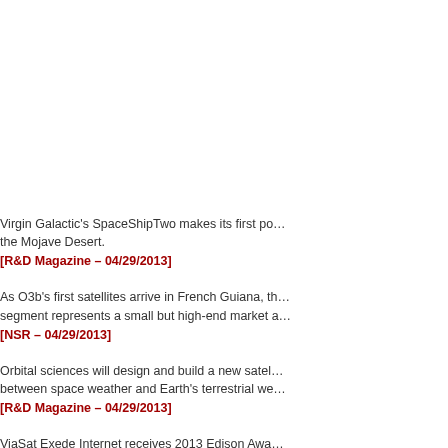Virgin Galactic's SpaceShipTwo makes its first powered flight over the Mojave Desert.
[R&D Magazine – 04/29/2013]
As O3b's first satellites arrive in French Guiana, the segment represents a small but high-end market a…
[NSR – 04/29/2013]
Orbital sciences will design and build a new satellite… between space weather and Earth's terrestrial we…
[R&D Magazine – 04/29/2013]
ViaSat Exede Internet receives 2013 Edison Awa…
[Yahoo Finance – 04/29/2013]
Is space junk a market waiting to be exploited?